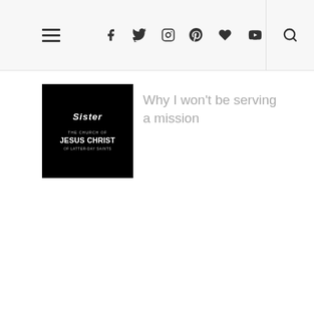Navigation header with hamburger menu, social icons (Facebook, Twitter, Instagram, Pinterest, Bloglovin, YouTube), and search icon
[Figure (illustration): Black square thumbnail image with white text reading 'Sister' and 'THE CHURCH OF JESUS CHRIST OF LATTER-DAY SAINTS']
Why I won't be serving a mission